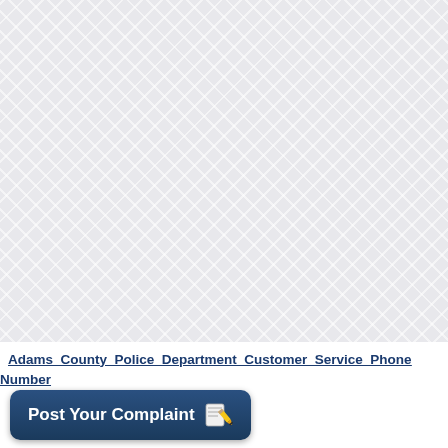[Figure (other): Light grey crosshatch/diamond pattern background filling most of the page]
Adams County Police Department Customer Service Phone Number
[Figure (other): Dark blue rounded button with white text 'Post Your Complaint' and a pencil/notepad emoji icon]